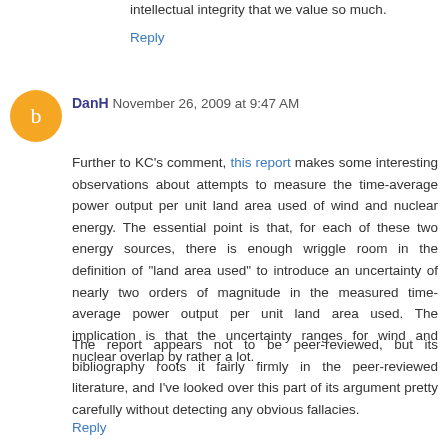intellectual integrity that we value so much.
Reply
DanH November 26, 2009 at 9:47 AM
Further to KC's comment, this report makes some interesting observations about attempts to measure the time-average power output per unit land area used of wind and nuclear energy. The essential point is that, for each of these two energy sources, there is enough wriggle room in the definition of "land area used" to introduce an uncertainty of nearly two orders of magnitude in the measured time-average power output per unit land area used. The implication is that the uncertainty ranges for wind and nuclear overlap by rather a lot.
The report appears not to be peer-reviewed, but its bibliography roots it fairly firmly in the peer-reviewed literature, and I've looked over this part of its argument pretty carefully without detecting any obvious fallacies.
Reply